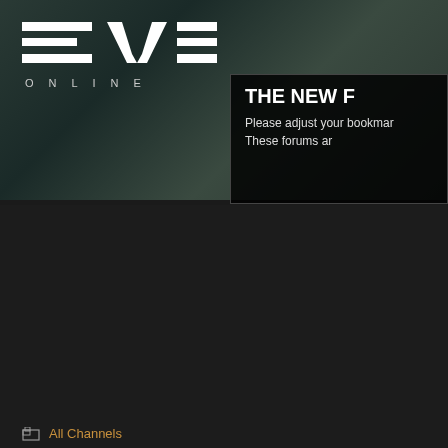[Figure (screenshot): EVE Online game forum screenshot showing breadcrumb navigation, pagination, and forum posts]
THE NEW F
Please adjust your bookmar
These forums ar
All Channels > EVE Information Portal > New Dev Blog: Fearless, virtual goods and rage
Pages: first : previous : ... 4 5 6 7 [8] 9 10 11 12 ... : last (102)
| Author |  |
| --- | --- |
| Rui Morin | Posted - 2011.06.24 21:09:00 - [211]
"I hope I've addressed your concerns and cleared up a lot of the issues.
Erm, nope, not at all. Check the responses to CCP Pann's thread. Clear |
|  | Posted - 2011.06.24 21:09:00 - [212] |